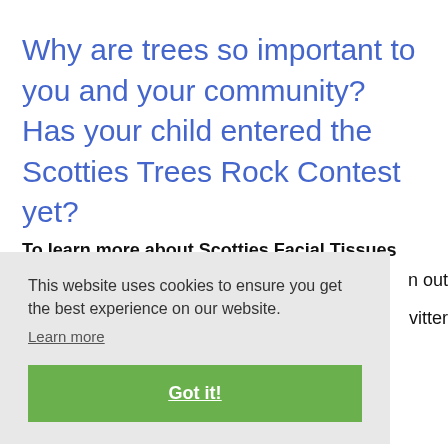Why are trees so important to you and your community? Has your child entered the Scotties Trees Rock Contest yet?
To learn more about Scotties Facial Tissues
n out
vitter
This website uses cookies to ensure you get the best experience on our website.
Learn more
Got it!